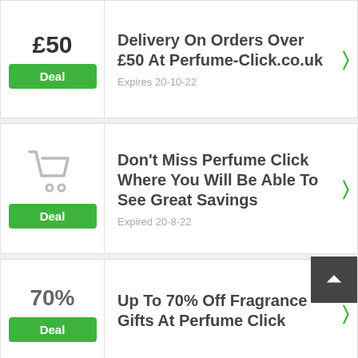£50
Deal
Delivery On Orders Over £50 At Perfume-Click.co.uk
Expires 20-10-22
[Figure (illustration): Shopping cart icon in grey outline]
Deal
Don't Miss Perfume Click Where You Will Be Able To See Great Savings
Expired 20-8-22
70%
Deal
Up To 70% Off Fragrance Gifts At Perfume Click